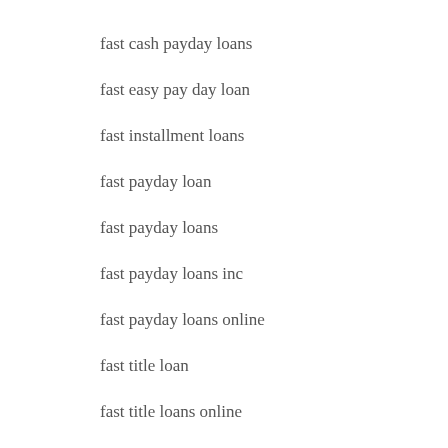fast cash payday loans
fast easy pay day loan
fast installment loans
fast payday loan
fast payday loans
fast payday loans inc
fast payday loans online
fast title loan
fast title loans online
Fastflirting review
Fatflirt dating site
fatflirt review
FatFlirt visitors
fayetteville escort review
fayetteville live escort review